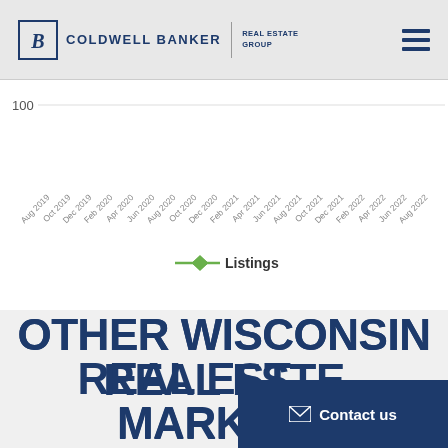Coldwell Banker Real Estate Group
[Figure (line-chart): Line chart showing Listings over time from Aug 2019 to Aug 2022. Y-axis shows value 100 visible at top.]
Listings
OTHER WISCONSIN REAL ESTATE MARKETS